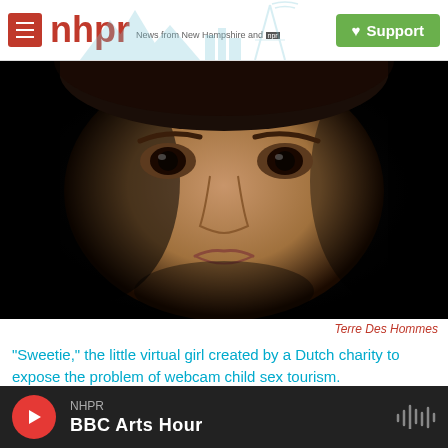nhpr — News from New Hampshire and NPR | Support
[Figure (photo): Close-up portrait of a young girl's face against a dark background — a virtual/CGI child named 'Sweetie' created by Dutch charity Terre Des Hommes to expose webcam child sex tourism.]
Terre Des Hommes
"Sweetie," the little virtual girl created by a Dutch charity to expose the problem of webcam child sex tourism.
NHPR BBC Arts Hour